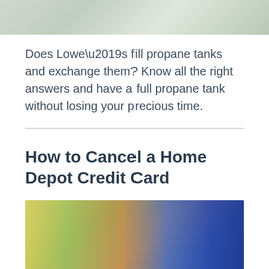[Figure (photo): Top portion of a photo showing a propane tank or outdoor scene with greenery]
Does Lowe’s fill propane tanks and exchange them? Know all the right answers and have a full propane tank without losing your precious time.
How to Cancel a Home Depot Credit Card
[Figure (photo): Photo of a woman in a blue top holding a tablet or phone, with bright background light]